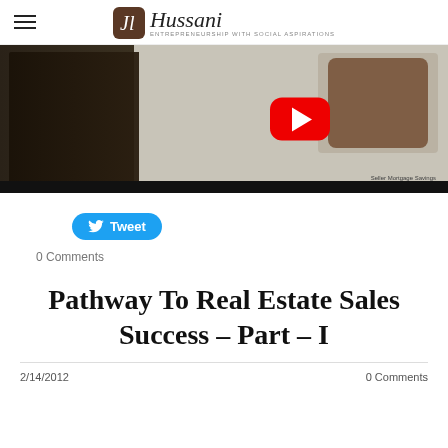Hussani — Entrepreneurship with Social Aspirations
[Figure (screenshot): YouTube video thumbnail showing a man in a suit presenting in front of a screen displaying 'Seller Mortgage Savings' with a calculator and house graphic, with a red YouTube play button overlay.]
Tweet
0 Comments
Pathway To Real Estate Sales Success – Part – I
2/14/2012
0 Comments